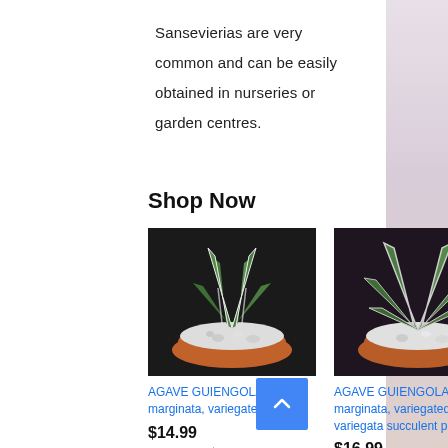Sansevierias are very common and can be easily obtained in nurseries or garden centres.
Shop Now
[Figure (photo): Top-down photo of AGAVE GUIENGOLA albo marginata plant in a terracotta pot with white gravel]
AGAVE GUIENGOLA albo marginata, variegated ra...
$14.99
★★★★½ (6)
[Figure (photo): Top-down photo of AGAVE GUIENGOLA albo marginata variegated rare variegata succulent plant in a terracotta pot with white gravel]
AGAVE GUIENGOLA albo marginata, variegated rare variegata succulent pl...
$16.99